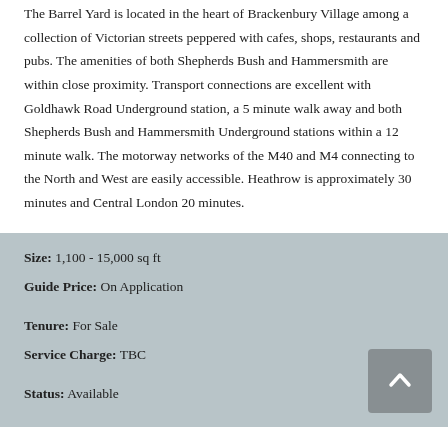The Barrel Yard is located in the heart of Brackenbury Village among a collection of Victorian streets peppered with cafes, shops, restaurants and pubs. The amenities of both Shepherds Bush and Hammersmith are within close proximity. Transport connections are excellent with Goldhawk Road Underground station, a 5 minute walk away and both Shepherds Bush and Hammersmith Underground stations within a 12 minute walk. The motorway networks of the M40 and M4 connecting to the North and West are easily accessible. Heathrow is approximately 30 minutes and Central London 20 minutes.
Size: 1,100 - 15,000 sq ft
Guide Price: On Application
Tenure: For Sale
Service Charge: TBC
Status: Available